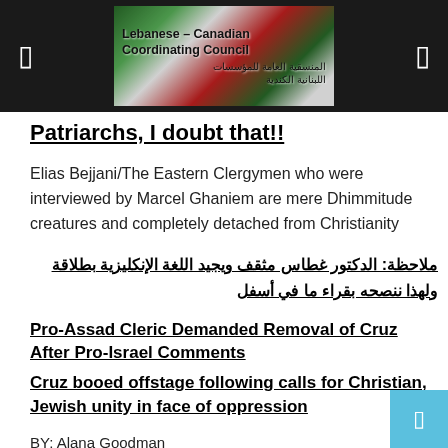Lebanese-Canadian Coordinating Council
Patriarchs, I doubt that!!
Elias Bejjani/The Eastern Clergymen who were interviewed by Marcel Ghaniem are mere Dhimmitude creatures and completely detached from Christianity
ملاحظة: الدكتور غطاس مثقف ويجيد اللغة الإنكليزية بطلاقة ولهذا ننصحه بقراء ما في أسفل
Pro-Assad Cleric Demanded Removal of Cruz After Pro-Israel Comments
Cruz booed offstage following calls for Christian, Jewish unity in face of oppression
BY: Alana Goodman
September 12, 2014